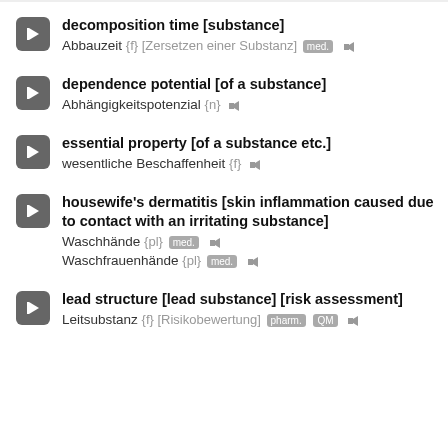decomposition time [substance] | Abbauzeit {f} [Zersetzen einer Substanz] med.
dependence potential [of a substance] | Abhängigkeitspotenzial {n}
essential property [of a substance etc.] | wesentliche Beschaffenheit {f}
housewife's dermatitis [skin inflammation caused due to contact with an irritating substance] | Waschhände {pl} med. | Waschfrauenhände {pl} med.
lead structure [lead substance] [risk assessment] | Leitsubstanz {f} [Risikobewertung] pharm. QM